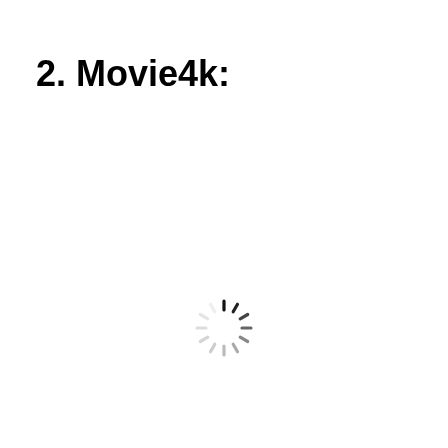2. Movie4k:
[Figure (other): A loading spinner icon (circular dashed spinner) centered in the lower-middle area of the page]